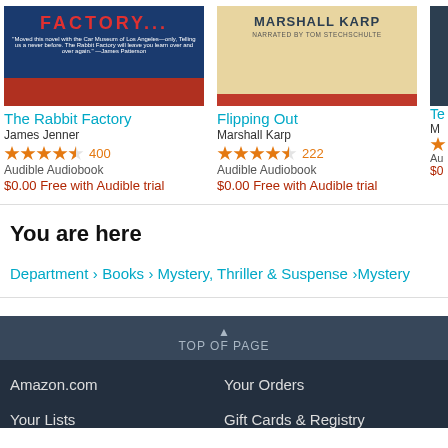[Figure (screenshot): Book cover for The Rabbit Factory - blue and red cover]
The Rabbit Factory
James Jenner
4.5 stars 400
Audible Audiobook
$0.00 Free with Audible trial
[Figure (screenshot): Book cover for Flipping Out by Marshall Karp - tan and red cover]
Flipping Out
Marshall Karp
4.5 stars 222
Audible Audiobook
$0.00 Free with Audible trial
You are here
Department ›Books › Mystery, Thriller & Suspense ›Mystery
TOP OF PAGE
Amazon.com
Your Orders
Your Lists
Gift Cards & Registry